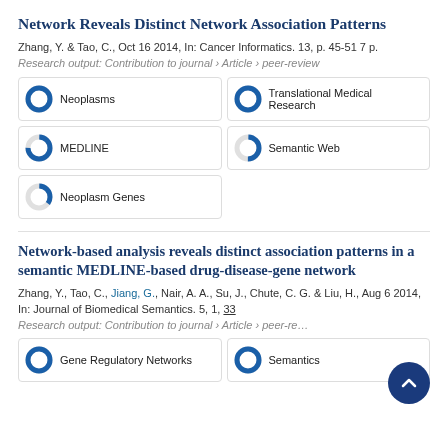Network Reveals Distinct Network Association Patterns
Zhang, Y. & Tao, C., Oct 16 2014, In: Cancer Informatics. 13, p. 45-51 7 p.
Research output: Contribution to journal › Article › peer-review
[Figure (infographic): Five keyword/topic badges with donut percentage icons: Neoplasms (100%), Translational Medical Research (100%), MEDLINE (75%), Semantic Web (50%), Neoplasm Genes (35%)]
Network-based analysis reveals distinct association patterns in a semantic MEDLINE-based drug-disease-gene network
Zhang, Y., Tao, C., Jiang, G., Nair, A. A., Su, J., Chute, C. G. & Liu, H., Aug 6 2014, In: Journal of Biomedical Semantics. 5, 1, 33
Research output: Contribution to journal › Article › peer-review
[Figure (infographic): Two keyword badges visible: Gene Regulatory Networks (100%), Semantics (100%)]